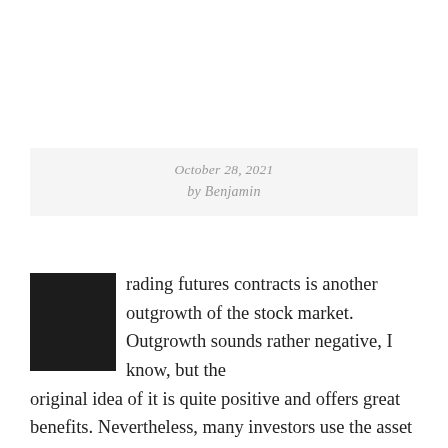October 28, 2021
by Benjamin
Trading futures contracts is another outgrowth of the stock market. Outgrowth sounds rather negative, I know, but the original idea of it is quite positive and offers great benefits. Nevertheless, many investors use the asset class for pure speculation. Cryptocurrency platforms caught up and thus it is also possible to trade